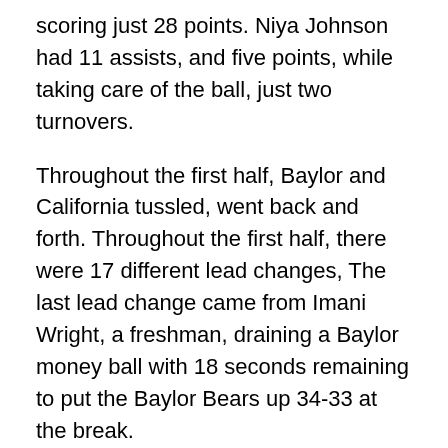scoring just 28 points. Niya Johnson had 11 assists, and five points, while taking care of the ball, just two turnovers.
Throughout the first half, Baylor and California tussled, went back and forth. Throughout the first half, there were 17 different lead changes, The last lead change came from Imani Wright, a freshman, draining a Baylor money ball with 18 seconds remaining to put the Baylor Bears up 34-33 at the break.
Coming out of halftime, Mulkey's Lady Bears made the right adjustments, and jumped out to a quick 40-33 lead with 16:56 remaining in the half. After Cal had battled back to tie it at 44-all off a Brittany Boyd jumper, the Lady Bears countered with a quick 7-2 that put them back up 53-46 with 10:55 remaining.